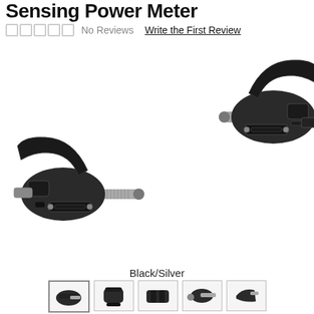Sensing Power Meter
No Reviews   Write the First Review
[Figure (photo): Two black cycling power meter pedals shown from different angles against a white background. The pedals feature a black body with silver spindle/axle, cleat attachment system, and battery compartment.]
Black/Silver
[Figure (photo): Row of 5 product thumbnail images showing the power meter pedals from different angles.]